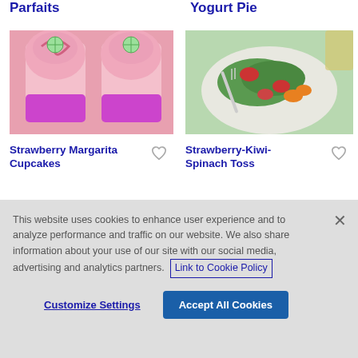Parfaits
Yogurt Pie
[Figure (photo): Pink frosted strawberry margarita cupcakes in purple foil cups, topped with lime slices]
Strawberry Margarita Cupcakes
[Figure (photo): Strawberry kiwi spinach salad on a white plate with a fork, orange segments and strawberries visible]
Strawberry-Kiwi-Spinach Toss
This website uses cookies to enhance user experience and to analyze performance and traffic on our website. We also share information about your use of our site with our social media, advertising and analytics partners. Link to Cookie Policy
Customize Settings
Accept All Cookies